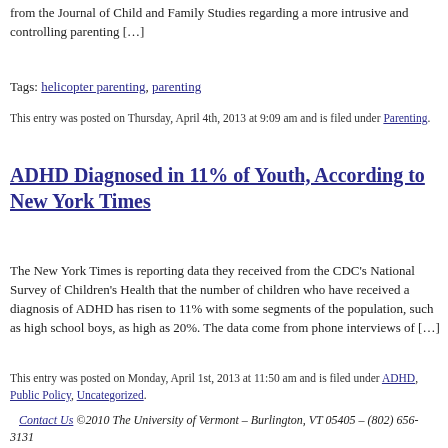from the Journal of Child and Family Studies regarding a more intrusive and controlling parenting […]
Tags: helicopter parenting, parenting
This entry was posted on Thursday, April 4th, 2013 at 9:09 am and is filed under Parenting.
ADHD Diagnosed in 11% of Youth, According to New York Times
The New York Times is reporting data they received from the CDC's National Survey of Children's Health that the number of children who have received a diagnosis of ADHD has risen to 11% with some segments of the population, such as high school boys, as high as 20%.  The data come from phone interviews of […]
This entry was posted on Monday, April 1st, 2013 at 11:50 am and is filed under ADHD, Public Policy, Uncategorized.
Contact Us ©2010 The University of Vermont – Burlington, VT 05405 – (802) 656-3131